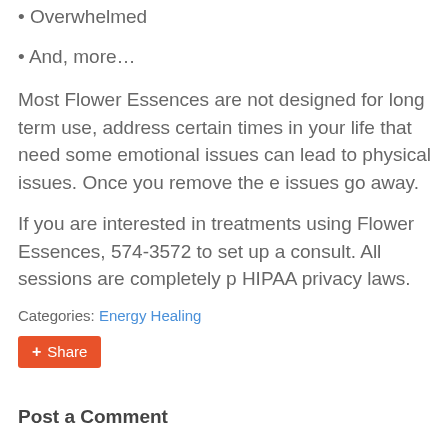• Overwhelmed
• And, more…
Most Flower Essences are not designed for long term use, address certain times in your life that need some emotional issues can lead to physical issues. Once you remove the e issues go away.
If you are interested in treatments using Flower Essences, 574-3572 to set up a consult. All sessions are completely p HIPAA privacy laws.
Categories: Energy Healing
Share
Post a Comment
Name
Email